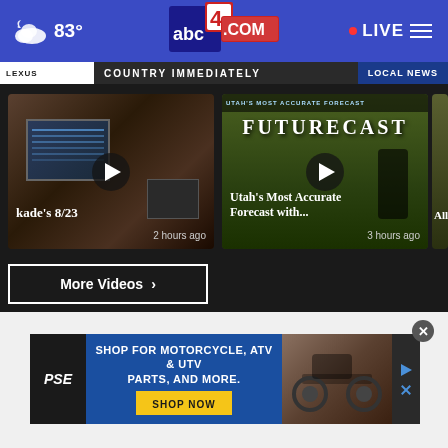abc4.com — 83° — LIVE
COUNTRY IMMEDIATELY — LOCAL NEWS
[Figure (screenshot): Video thumbnail: kade's 8/23 - indoor scene with screen displaying content]
kade's 8/23 — 2 hours ago
[Figure (screenshot): Video thumbnail: Utah's Most Accurate Forecast with... FUTURECAST weather segment]
Utah's Most Accurate Forecast with... — 3 hours ago
[Figure (screenshot): Video thumbnail: Ally's - partially visible]
More Videos ›
[Figure (screenshot): Advertisement: PSE — SHOP FOR MOTORCYCLE, ATV & UTV PARTS, AND MORE. — SHOP NOW button with motorcycle image]